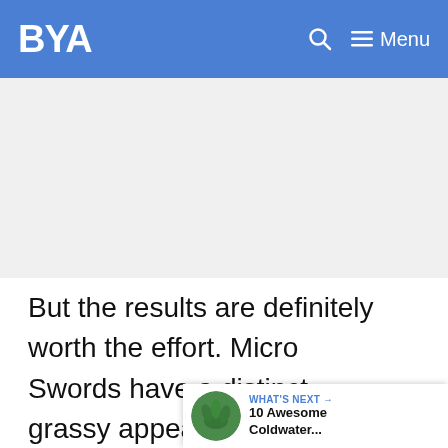BYA — Menu
[Figure (other): Advertisement placeholder box (light gray rectangle)]
But the results are definitely worth the effort. Micro Swords have a distinct grassy appearance that looks incredible when kept tidy. Carbon Dioxide (CO2) injection substantially speeds up their progress as well.
WHAT'S NEXT → 10 Awesome Coldwater...